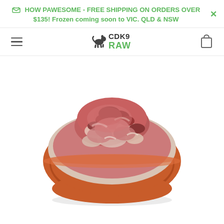HOW PAWESOME - FREE SHIPPING ON ORDERS OVER $135! Frozen coming soon to VIC. QLD & NSW
[Figure (logo): CDK9 RAW brand logo with a jumping dog silhouette and text CDK9 RAW in green]
[Figure (photo): A terracotta bowl filled with raw minced meat / raw dog food, photographed on a white background]